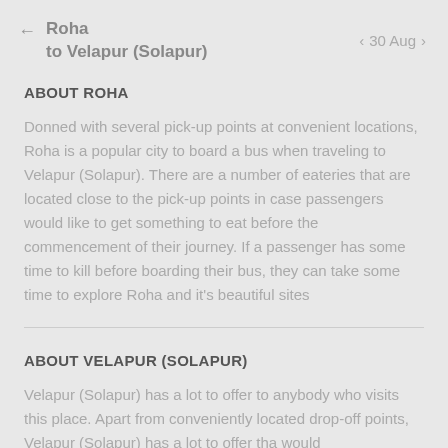Roha to Velapur (Solapur)  ← >  30 Aug
ABOUT ROHA
Donned with several pick-up points at convenient locations, Roha is a popular city to board a bus when traveling to Velapur (Solapur). There are a number of eateries that are located close to the pick-up points in case passengers would like to get something to eat before the commencement of their journey. If a passenger has some time to kill before boarding their bus, they can take some time to explore Roha and it's beautiful sites
ABOUT VELAPUR (SOLAPUR)
Velapur (Solapur) has a lot to offer to anybody who visits this place. Apart from conveniently located drop-off points, Velapur (Solapur) has a lot to offer tha would